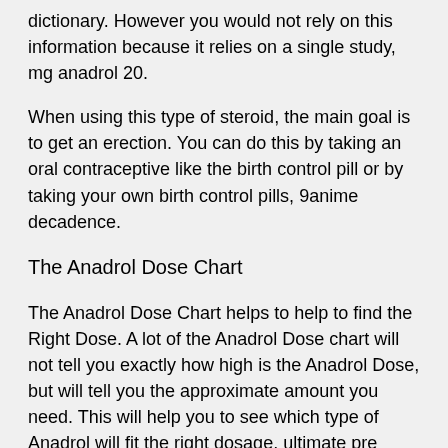dictionary. However you would not rely on this information because it relies on a single study, mg anadrol 20.
When using this type of steroid, the main goal is to get an erection. You can do this by taking an oral contraceptive like the birth control pill or by taking your own birth control pills, 9anime decadence.
The Anadrol Dose Chart
The Anadrol Dose Chart helps to help to find the Right Dose. A lot of the Anadrol Dose chart will not tell you exactly how high is the Anadrol Dose, but will tell you the approximate amount you need. This will help you to see which type of Anadrol will fit the right dosage, ultimate pre workout stack.
The Anadrol Dose Chart - Summary of